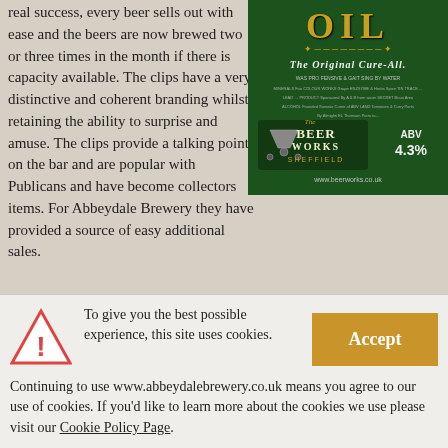real success, every beer sells out with ease and the beers are now brewed two or three times in the month if there is capacity available. The clips have a very distinctive and coherent branding whilst retaining the ability to surprise and amuse. The clips provide a talking point on the bar and are popular with Publicans and have become collectors items. For Abbeydale Brewery they have provided a source of easy additional sales.
[Figure (photo): Beer pump clip for 'Oil - The Original Cure-All' from The Beer Works Sheffield, ABV 4.3%, dark green background with golden text, www.beerworks.co.uk]
Abbeydale Brewery has always put out beers under the
To give you the best possible experience, this site uses cookies. Continuing to use www.abbeydalebrewery.co.uk means you agree to our use of cookies. If you'd like to learn more about the cookies we use please visit our Cookie Policy Page.